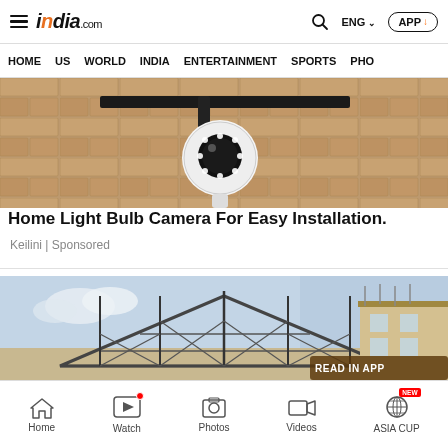india.com — HOME US WORLD INDIA ENTERTAINMENT SPORTS PHO
[Figure (photo): Security camera / light bulb camera mounted on a textured stone wall with metal bracket]
Home Light Bulb Camera For Easy Installation.
Keilini | Sponsored
[Figure (photo): Rooftop scaffolding structure with a building and blue sky in background, with READ IN APP badge]
[Figure (screenshot): Petco advertisement banner with navigation arrow icon]
Home  Watch  Photos  Videos  ASIA CUP